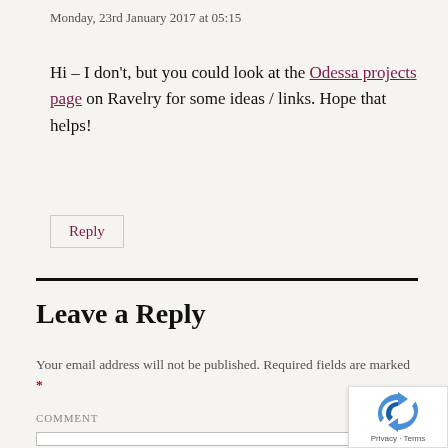Monday, 23rd January 2017 at 05:15
Hi – I don't, but you could look at the Odessa projects page on Ravelry for some ideas / links. Hope that helps!
Reply
Leave a Reply
Your email address will not be published. Required fields are marked *
COMMENT